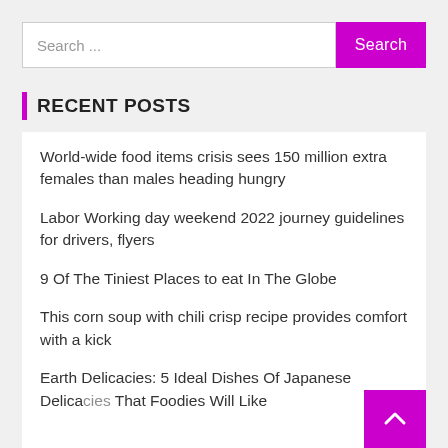Search ...
Search
RECENT POSTS
World-wide food items crisis sees 150 million extra females than males heading hungry
Labor Working day weekend 2022 journey guidelines for drivers, flyers
9 Of The Tiniest Places to eat In The Globe
This corn soup with chili crisp recipe provides comfort with a kick
Earth Delicacies: 5 Ideal Dishes Of Japanese Delicacies That Foodies Will Like